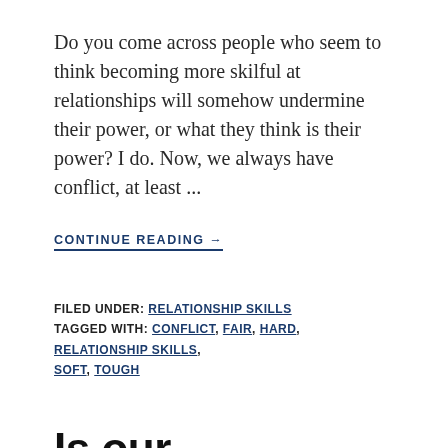Do you come across people who seem to think becoming more skilful at relationships will somehow undermine their power, or what they think is their power? I do. Now, we always have conflict, at least ...
CONTINUE READING →
FILED UNDER: RELATIONSHIP SKILLS
TAGGED WITH: CONFLICT, FAIR, HARD, RELATIONSHIP SKILLS, SOFT, TOUGH
Is our instinctive, defensive response to competition the